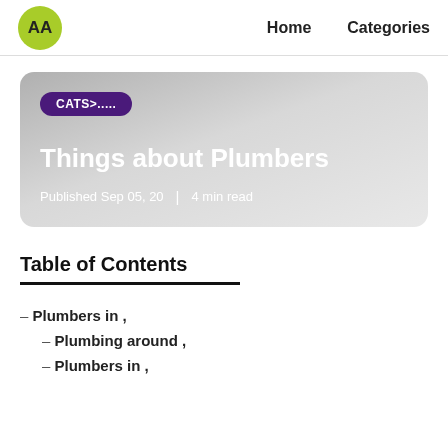AA  Home  Categories
[Figure (other): Article card with gradient grey background showing category badge 'CATS>.....' in purple, article title 'Things about Plumbers', and metadata 'Published Sep 05, 20 | 4 min read']
Table of Contents
– Plumbers in ,
– Plumbing around ,
– Plumbers in ,